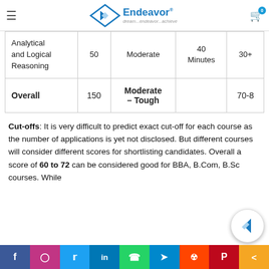Endeavor - dream...endeavor...achieve
| Subject | Questions | Difficulty | Time | Score |
| --- | --- | --- | --- | --- |
| Analytical and Logical Reasoning | 50 | Moderate | 40 Minutes | 30+ |
| Overall | 150 | Moderate – Tough |  | 70-8 |
Cut-offs: It is very difficult to predict exact cut-off for each course as the number of applications is yet not disclosed. But different courses will consider different scores for shortlisting candidates. Overall a score of 60 to 72 can be considered good for BBA, B.Com, B.Sc courses. While